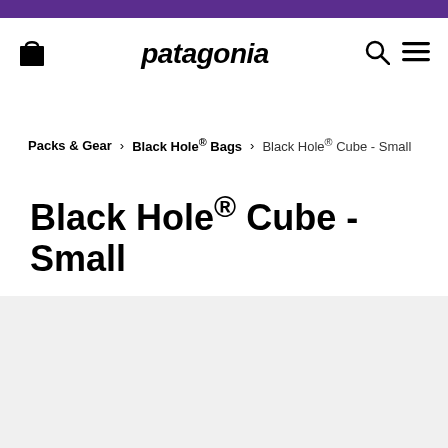patagonia
Packs & Gear > Black Hole® Bags > Black Hole® Cube - Small
Black Hole® Cube - Small